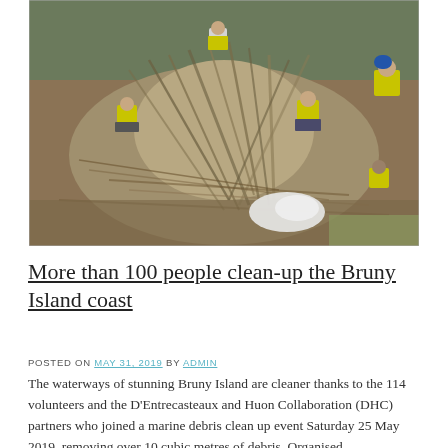[Figure (photo): Outdoor photo of several people in high-visibility yellow jackets collecting marine debris among a large pile of driftwood and tangled branches on a coastal hillside. A white plastic bag is visible in the foreground among the debris.]
More than 100 people clean-up the Bruny Island coast
POSTED ON MAY 31, 2019 BY ADMIN
The waterways of stunning Bruny Island are cleaner thanks to the 114 volunteers and the D'Entrecasteaux and Huon Collaboration (DHC) partners who joined a marine debris clean up event Saturday 25 May 2019, removing over 10 cubic metres of debris. Organised